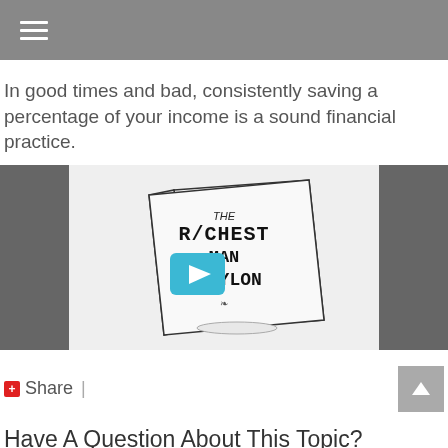In good times and bad, consistently saving a percentage of your income is a sound financial practice.
[Figure (screenshot): Video thumbnail showing a hand-drawn illustration of 'The Richest Man in Babylon' book cover with a blue play button overlay in the center]
Share |
Have A Question About This Topic?